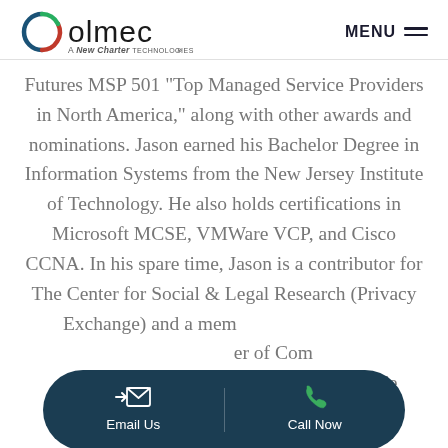olmec — A New Charter Technologies Company | MENU
Futures MSP 501 "Top Managed Service Providers in North America," along with other awards and nominations. Jason earned his Bachelor Degree in Information Systems from the New Jersey Institute of Technology. He also holds certifications in Microsoft MCSE, VMWare VCP, and Cisco CCNA. In his spare time, Jason is a contributor for The Center for Social & Legal Research (Privacy Exchange) and a member of [the board/chapter] of [organization] ...lling and kayaking. He currently lives in New
[Figure (other): Contact action bar with two buttons: Email Us (envelope icon) and Call Now (phone icon), dark teal rounded pill shape overlay]